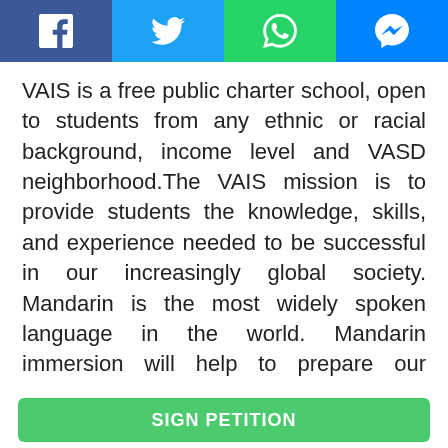[Figure (other): Social sharing bar with Facebook, Twitter, WhatsApp, and Messenger icons]
VAIS is a free public charter school, open to students from any ethnic or racial background, income level and VASD neighborhood.The VAIS mission is to provide students the knowledge, skills, and experience needed to be successful in our increasingly global society. Mandarin is the most widely spoken language in the world. Mandarin immersion will help to prepare our students as they grow up in an increasingly multi-cultural world, and it will also allow them to learn additional languages more easily. VAIS students are well on their way to becoming proficient in a high-demand language, which will allow them to have a competitive edge in the job market.
SIGN PETITION